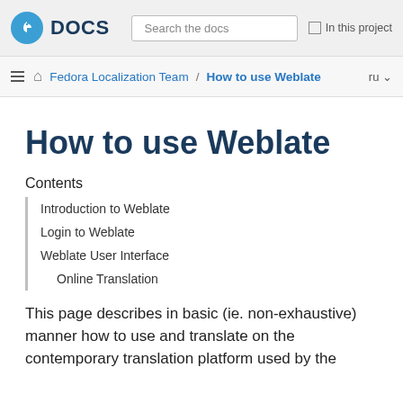Fedora DOCS — Search the docs — In this project
Fedora Localization Team / How to use Weblate  ru
How to use Weblate
Contents
Introduction to Weblate
Login to Weblate
Weblate User Interface
Online Translation
This page describes in basic (ie. non-exhaustive) manner how to use and translate on the contemporary translation platform used by the